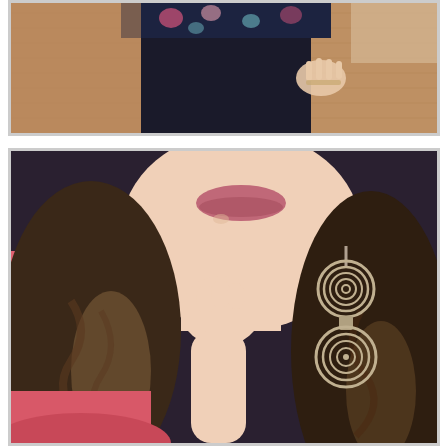[Figure (photo): Woman from the waist down wearing a floral top and black leggings, standing on a wooden parquet floor, one hand resting on her thigh.]
[Figure (photo): Close-up portrait of a young woman with long wavy brown ombre hair, wearing a pink top, resting her chin on her hand. She is wearing large silver spiral drop earrings and has pink-mauve lipstick.]